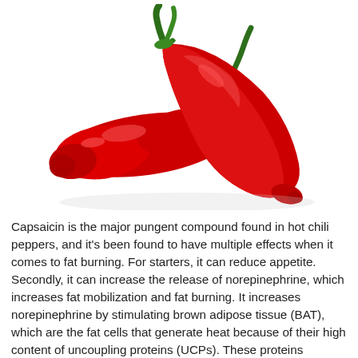[Figure (photo): Two red chili peppers with green stems on a white background]
Capsaicin is the major pungent compound found in hot chili peppers, and it's been found to have multiple effects when it comes to fat burning. For starters, it can reduce appetite. Secondly, it can increase the release of norepinephrine, which increases fat mobilization and fat burning. It increases norepinephrine by stimulating brown adipose tissue (BAT), which are the fat cells that generate heat because of their high content of uncoupling proteins (UCPs). These proteins uncouple fat oxidation from the production of ATP or energy, allowing the body to generate